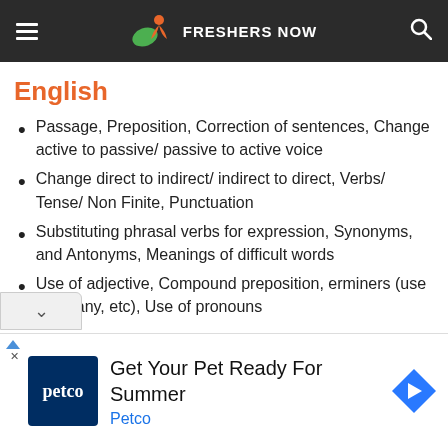FRESHERS NOW
English
Passage, Preposition, Correction of sentences, Change active to passive/ passive to active voice
Change direct to indirect/ indirect to direct, Verbs/ Tense/ Non Finite, Punctuation
Substituting phrasal verbs for expression, Synonyms, and Antonyms, Meanings of difficult words
Use of adjective, Compound preposition, erminers (use of an any, etc), Use of pronouns
[Figure (screenshot): Advertisement banner: Get Your Pet Ready For Summer - Petco]